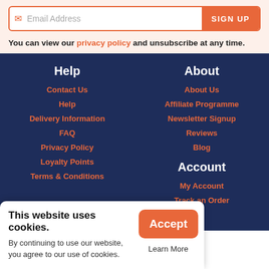Email Address  SIGN UP
You can view our privacy policy and unsubscribe at any time.
Help
Contact Us
Help
Delivery Information
FAQ
Privacy Policy
Loyalty Points
Terms & Conditions
About
About Us
Affiliate Programme
Newsletter Signup
Reviews
Blog
Account
My Account
Track an Order
This website uses cookies. By continuing to use our website, you agree to our use of cookies.
Accept
Learn More